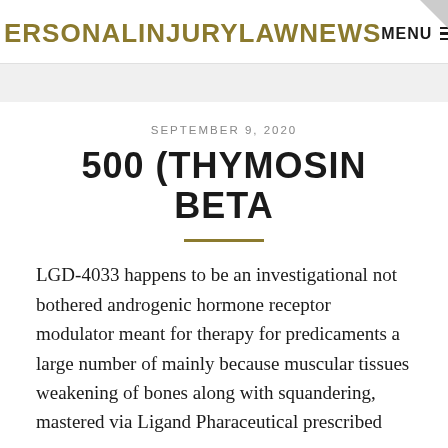ERSONALINJURYLAWNEWS  MENU
SEPTEMBER 9, 2020
500 (THYMOSIN BETA
LGD-4033 happens to be an investigational not bothered androgenic hormone receptor modulator meant for therapy for predicaments a large number of mainly because muscular tissues weakening of bones along with squandering, mastered via Ligand Pharaceutical prescribed